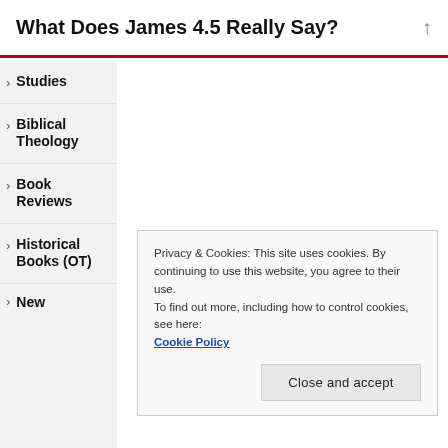What Does James 4.5 Really Say?
Studies
Biblical Theology
Book Reviews
Historical Books (OT)
Privacy & Cookies: This site uses cookies. By continuing to use this website, you agree to their use.
To find out more, including how to control cookies, see here: Cookie Policy
New